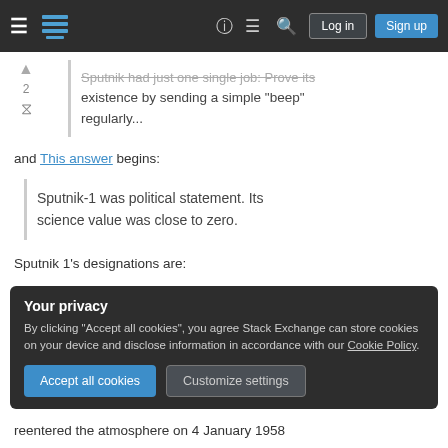Stack Exchange navigation bar with hamburger menu, logo, help, chat, search icons, Log in and Sign up buttons
Sputnik had just one single job: Prove its existence by sending a simple "beep" regularly...
and This answer begins:
Sputnik-1 was political statement. Its science value was close to zero.
Sputnik 1's designations are:
Your privacy
By clicking "Accept all cookies", you agree Stack Exchange can store cookies on your device and disclose information in accordance with our Cookie Policy.
Accept all cookies  Customize settings
reentered the atmosphere on 4 January 1958